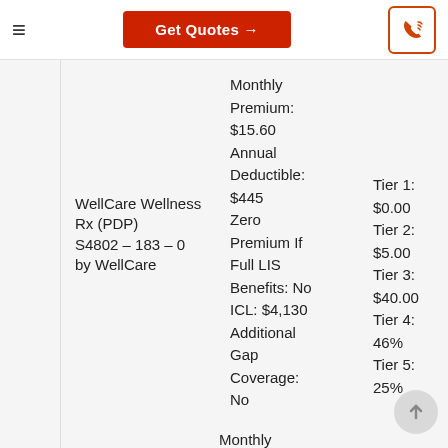≡  Get Quotes →  [phone icon]
WellCare Wellness Rx (PDP)
S4802 – 183 – 0
by WellCare
Monthly Premium: $15.60
Annual Deductible: $445
Zero Premium If Full LIS Benefits: No
ICL: $4,130
Additional Gap Coverage: No
Tier 1: $0.00
Tier 2: $5.00
Tier 3: $40.00
Tier 4: 46%
Tier 5: 25%
Monthly